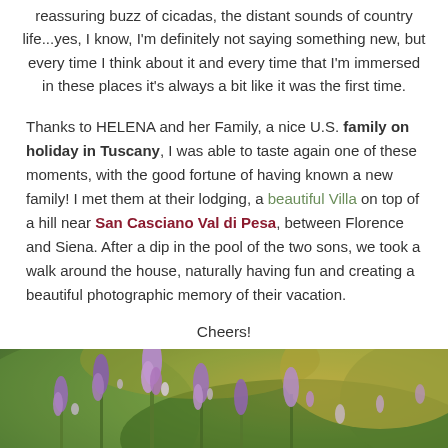reassuring buzz of cicadas, the distant sounds of country life...yes, I know, I'm definitely not saying something new, but every time I think about it and every time that I'm immersed in these places it's always a bit like it was the first time.
Thanks to HELENA and her Family, a nice U.S. family on holiday in Tuscany, I was able to taste again one of these moments, with the good fortune of having known a new family! I met them at their lodging, a beautiful Villa on top of a hill near San Casciano Val di Pesa, between Florence and Siena. After a dip in the pool of the two sons, we took a walk around the house, naturally having fun and creating a beautiful photographic memory of their vacation.
Cheers!
[Figure (photo): Close-up photograph of lavender flowers in bloom, with a blurred background of green foliage and golden-yellow tones]